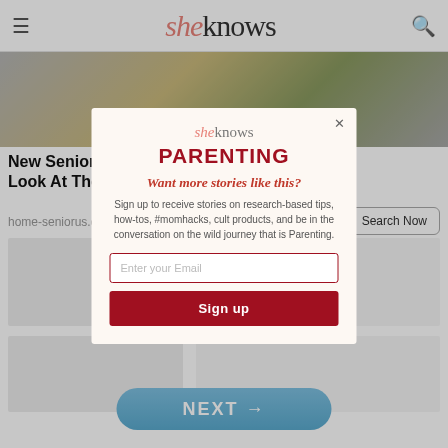sheknows
[Figure (photo): Aerial view of a golden/tan grass lawn area with grey pathway]
New Senior Apartments in Ashburn (Take A Look At The Prices)
home-seniorus.com | Sp...
Search Now
[Figure (screenshot): Modal popup overlay on sheknows article page showing Parenting newsletter signup with email field and Sign up button]
NEXT →